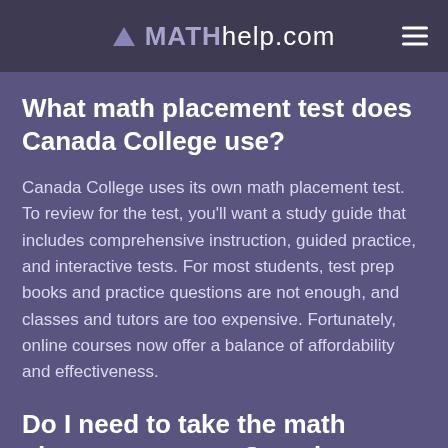MATHhelp.com
What math placement test does Canada College use?
Canada College uses its own math placement test. To review for the test, you'll want a study guide that includes comprehensive instruction, guided practice, and interactive tests. For most students, test prep books and practice questions are not enough, and classes and tutors are too expensive. Fortunately, online courses now offer a balance of affordability and effectiveness.
Do I need to take the math placement test at Canada College?